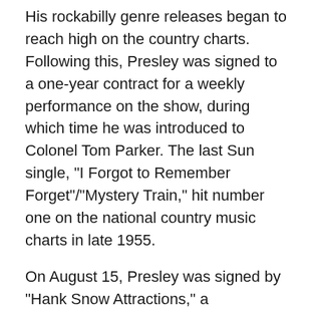His rockabilly genre releases began to reach high on the country charts. Following this, Presley was signed to a one-year contract for a weekly performance on the show, during which time he was introduced to Colonel Tom Parker. The last Sun single, "I Forgot to Remember Forget"/"Mystery Train," hit number one on the national country music charts in late 1955.
On August 15, Presley was signed by "Hank Snow Attractions," a management company jointly owned by Snow and Parker. Shortly thereafter, Parker took full control and negotiated a deal with RCA Victor Records, who acquired Presley's Sun contract from Phillips for $35,000. Presley's first single for RCA, "Heartbreak Hotel," quickly sold one million copies and within a year RCA would go on to sell ten million Presley singles.
Elvis breaks out